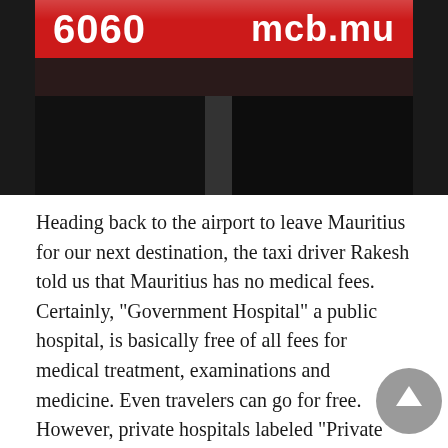[Figure (photo): Photo of a red banner sign showing '6060' and 'mcb.mu' on top of dark black equipment boxes/cases at what appears to be an airport or exhibition area.]
Heading back to the airport to leave Mauritius for our next destination, the taxi driver Rakesh told us that Mauritius has no medical fees. Certainly, "Government Hospital" a public hospital, is basically free of all fees for medical treatment, examinations and medicine. Even travelers can go for free. However, private hospitals labeled "Private Clinics" and "Private Hospitals" are not free. In the event of an emergency, such as a car accident, you will be taken to a public hospital by "SAMU" (an ambulance service for public hospitals). Then, if you want, you can be transferred to a private hospital, with